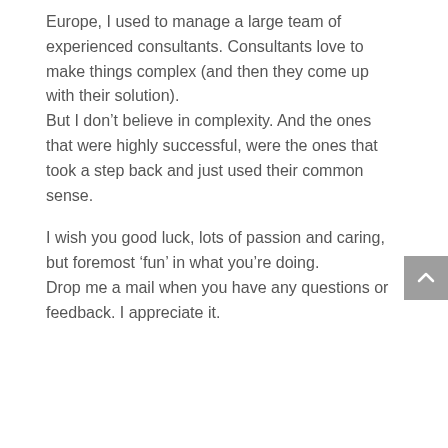Europe, I used to manage a large team of experienced consultants. Consultants love to make things complex (and then they come up with their solution). But I don't believe in complexity. And the ones that were highly successful, were the ones that took a step back and just used their common sense.

I wish you good luck, lots of passion and caring, but foremost ‘fun’ in what you’re doing. Drop me a mail when you have any questions or feedback. I appreciate it.